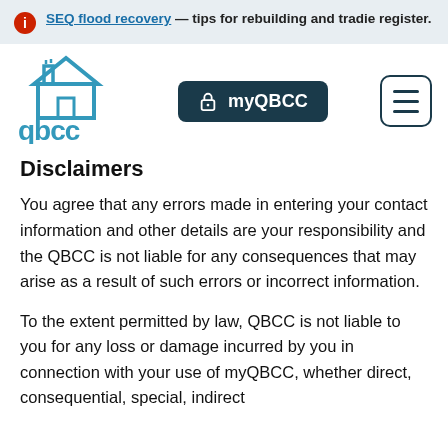SEQ flood recovery — tips for rebuilding and tradie register.
[Figure (logo): QBCC Queensland Building and Construction Commission logo in teal/blue]
Disclaimers
You agree that any errors made in entering your contact information and other details are your responsibility and the QBCC is not liable for any consequences that may arise as a result of such errors or incorrect information.
To the extent permitted by law, QBCC is not liable to you for any loss or damage incurred by you in connection with your use of myQBCC, whether direct, consequential, special, indirect